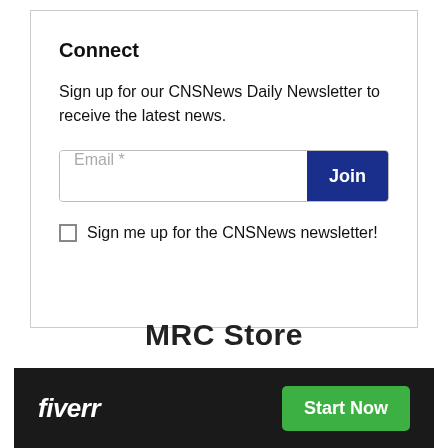Connect
Sign up for our CNSNews Daily Newsletter to receive the latest news.
Email *
Join
Sign me up for the CNSNews newsletter!
MRC Store
[Figure (other): Fiverr advertisement banner with 'fiverr' logo on black background and green 'Start Now' button]